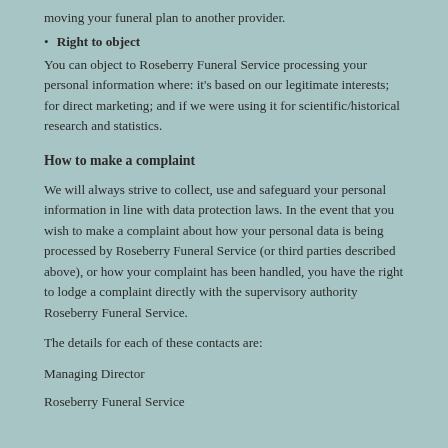moving your funeral plan to another provider.
Right to object
You can object to Roseberry Funeral Service processing your personal information where: it's based on our legitimate interests; for direct marketing; and if we were using it for scientific/historical research and statistics.
How to make a complaint
We will always strive to collect, use and safeguard your personal information in line with data protection laws. In the event that you wish to make a complaint about how your personal data is being processed by Roseberry Funeral Service (or third parties described above), or how your complaint has been handled, you have the right to lodge a complaint directly with the supervisory authority Roseberry Funeral Service.
The details for each of these contacts are:
Managing Director
Roseberry Funeral Service